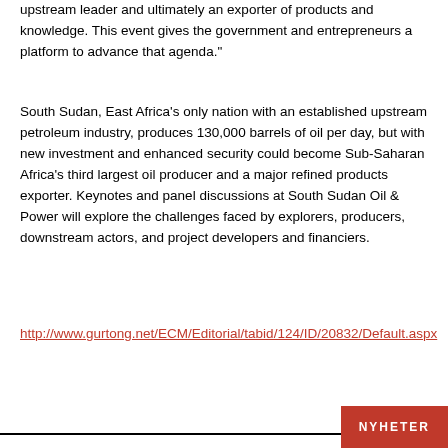upstream leader and ultimately an exporter of products and knowledge. This event gives the government and entrepreneurs a platform to advance that agenda."
South Sudan, East Africa's only nation with an established upstream petroleum industry, produces 130,000 barrels of oil per day, but with new investment and enhanced security could become Sub-Saharan Africa's third largest oil producer and a major refined products exporter. Keynotes and panel discussions at South Sudan Oil & Power will explore the challenges faced by explorers, producers, downstream actors, and project developers and financiers.
http://www.gurtong.net/ECM/Editorial/tabid/124/ID/20832/Default.aspx
NYHETER